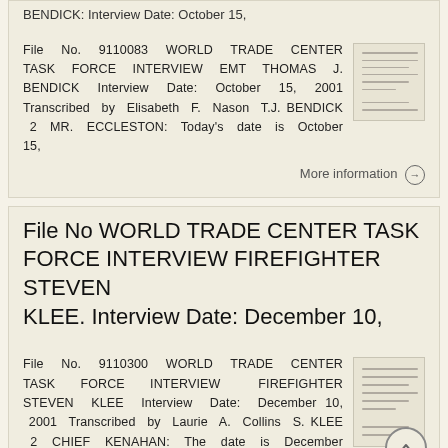BENDICK: Interview Date: October 15,
File No. 9110083 WORLD TRADE CENTER TASK FORCE INTERVIEW EMT THOMAS J. BENDICK Interview Date: October 15, 2001 Transcribed by Elisabeth F. Nason T.J. BENDICK 2 MR. ECCLESTON: Today's date is October 15,
More information
File No WORLD TRADE CENTER TASK FORCE INTERVIEW FIREFIGHTER STEVEN KLEE. Interview Date: December 10,
File No. 9110300 WORLD TRADE CENTER TASK FORCE INTERVIEW FIREFIGHTER STEVEN KLEE Interview Date: December 10, 2001 Transcribed by Laurie A. Collins S. KLEE 2 CHIEF KENAHAN: The date is December 10, 2001,